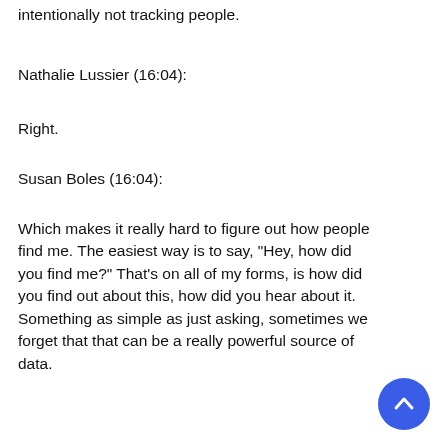intentionally not tracking people.
Nathalie Lussier (16:04):
Right.
Susan Boles (16:04):
Which makes it really hard to figure out how people find me. The easiest way is to say, "Hey, how did you find me?" That's on all of my forms, is how did you find out about this, how did you hear about it. Something as simple as just asking, sometimes we forget that that can be a really powerful source of data.